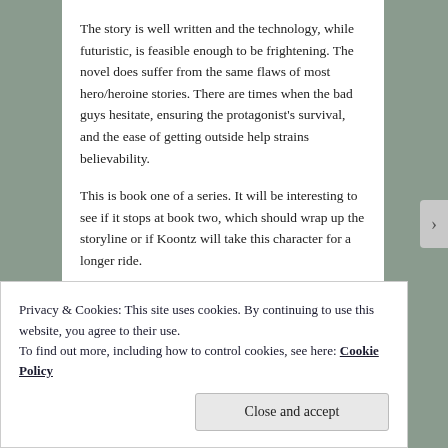The story is well written and the technology, while futuristic, is feasible enough to be frightening. The novel does suffer from the same flaws of most hero/heroine stories. There are times when the bad guys hesitate, ensuring the protagonist's survival, and the ease of getting outside help strains believability.
This is book one of a series. It will be interesting to see if it stops at book two, which should wrap up the storyline or if Koontz will take this character for a longer ride.
This one gets four stars.
Advertisements
Privacy & Cookies: This site uses cookies. By continuing to use this website, you agree to their use.
To find out more, including how to control cookies, see here: Cookie Policy